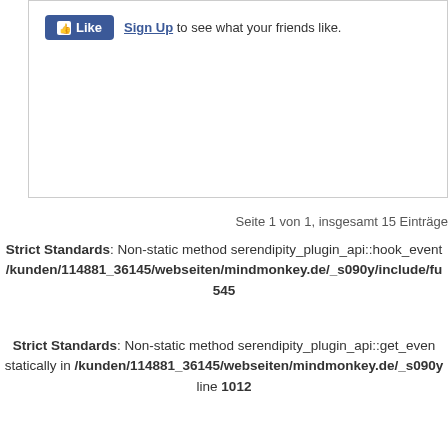[Figure (screenshot): Facebook Like button widget with 'Like' button in blue and 'Sign Up to see what your friends like.' text]
Seite 1 von 1, insgesamt 15 Einträge
Strict Standards: Non-static method serendipity_plugin_api::hook_event... /kunden/114881_36145/webseiten/mindmonkey.de/_s090y/include/fu... 545
Strict Standards: Non-static method serendipity_plugin_api::get_even... statically in /kunden/114881_36145/webseiten/mindmonkey.de/_s090y... line 1012